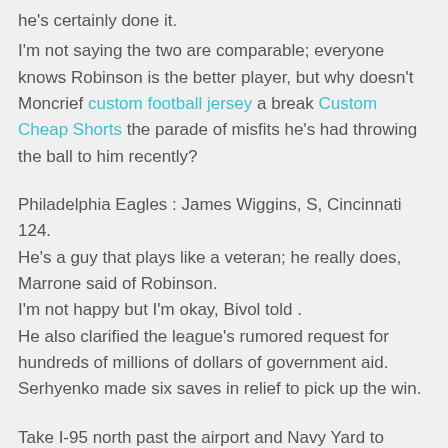he's certainly done it.
I'm not saying the two are comparable; everyone knows Robinson is the better player, but why doesn't Moncrief custom football jersey a break Custom Cheap Shorts the parade of misfits he's had throwing the ball to him recently?
Philadelphia Eagles : James Wiggins, S, Cincinnati 124. He's a guy that plays like a veteran; he really does, Marrone said of Robinson. I'm not happy but I'm okay, Bivol told . He also clarified the league's rumored request for hundreds of millions of dollars of government aid. Serhyenko made six saves in relief to pick up the win.
Take I-95 north past the airport and Navy Yard to Broad Street, Exit 17 from the right-hand lane. Guhle said he believes his game will translate well to the NHL. I thought Foles make your own jersey the offense had